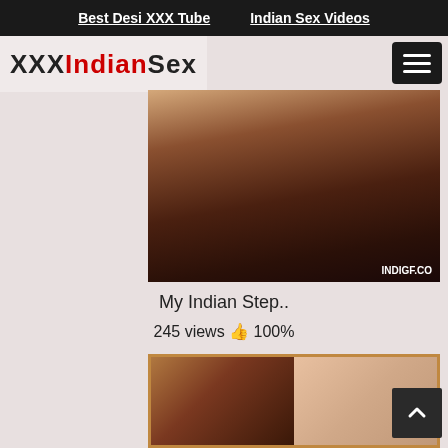Best Desi XXX Tube | Indian Sex Videos
XXXIndianSex
[Figure (photo): Video thumbnail showing adult content, watermark INDIGF.CO]
My Indian Step..
245 views 👍 100%
[Figure (photo): Second video thumbnail grid showing adult content]